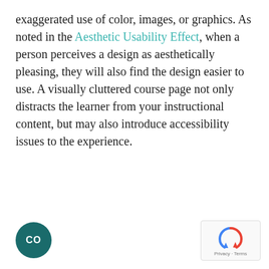exaggerated use of color, images, or graphics. As noted in the Aesthetic Usability Effect, when a person perceives a design as aesthetically pleasing, they will also find the design easier to use. A visually cluttered course page not only distracts the learner from your instructional content, but may also introduce accessibility issues to the experience.
[Figure (logo): Dark teal circular logo with white 'CO' text]
[Figure (other): reCAPTCHA widget showing spinning arrows icon and Privacy - Terms text]